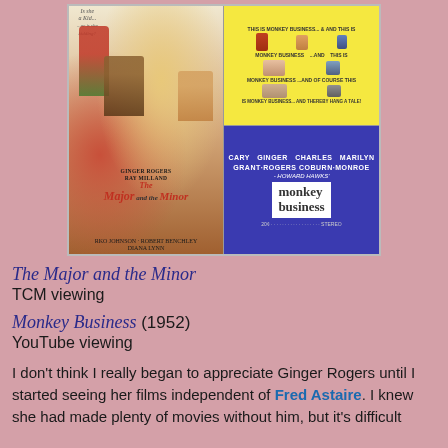[Figure (photo): Two movie posters side by side. Left: The Major and the Minor poster with Ginger Rogers and Ray Milland. Right top and bottom: Monkey Business (1952) poster with Cary Grant, Ginger Rogers, Charles Coburn, Marilyn Monroe, directed by Howard Hawks.]
The Major and the Minor TCM viewing
Monkey Business (1952) YouTube viewing
I don't think I really began to appreciate Ginger Rogers until I started seeing her films independent of Fred Astaire. I knew she had made plenty of movies without him, but it's difficult